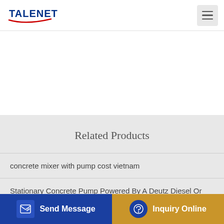TALENET
Related Products
concrete mixer with pump cost vietnam
Stationary Concrete Pump Powered By A Deutz Diesel Or
7... liter Mixer Truck 10cbm Concre... er for Sale in Shanghai